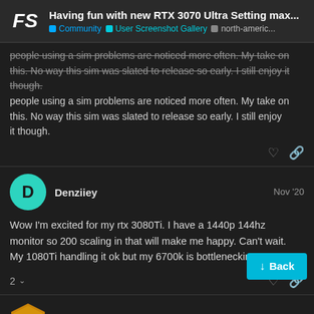Having fun with new RTX 3070 Ultra Setting max... | Community | User Screenshot Gallery | north-americ...
people using a sim problems are noticed more often. My take on this. No way this sim was slated to release so early. I still enjoy it though.
Denziiey Nov '20
Wow I'm excited for my rtx 3080Ti. I have a 1440p 144hz monitor so 200 scaling in that will make me happy. Can't wait. My 1080Ti handling it ok but my 6700k is bottlenecking
xlStuartlx87 Nov '20
Looks brilliant, may I ask what resolution y